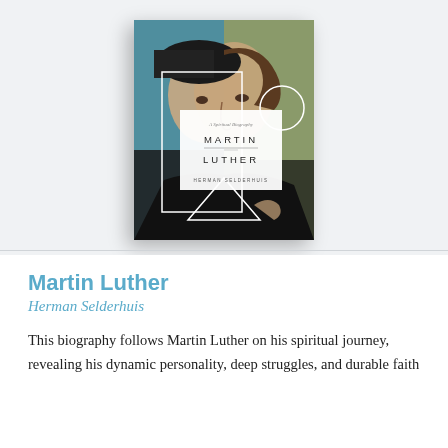[Figure (illustration): Book cover of 'Martin Luther: A Spiritual Biography' by Herman Selderhuis. The cover features a Renaissance portrait of Martin Luther split into a teal-green left half and olive-green right half, overlaid with white geometric shapes (a rectangle, triangle, and circle). A white overlay box in the center shows the title 'MARTIN LUTHER' and subtitle 'A Spiritual Biography' with the author name 'HERMAN SELDERHUIS'.]
Martin Luther
Herman Selderhuis
This biography follows Martin Luther on his spiritual journey, revealing his dynamic personality, deep struggles, and durable faith